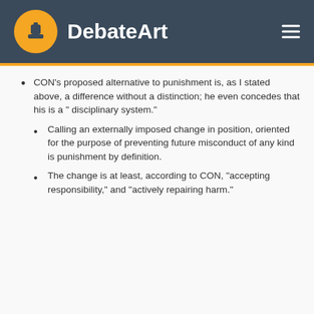DebateArt
CON's proposed alternative to punishment is, as I stated above, a difference without a distinction; he even concedes that his is a "disciplinary system."
Calling an externally imposed change in position, oriented for the purpose of preventing future misconduct of any kind is punishment by definition.
The change is at least, according to CON, "accepting responsibility," and "actively repairing harm."